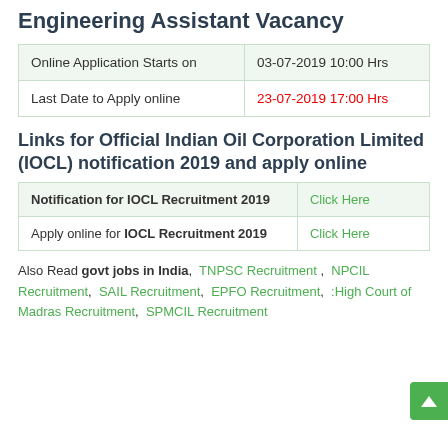Engineering Assistant Vacancy
|  |  |
| --- | --- |
| Online Application Starts on | 03-07-2019 10:00 Hrs |
| Last Date to Apply online | 23-07-2019 17:00 Hrs |
Links for Official Indian Oil Corporation Limited (IOCL) notification 2019 and apply online
|  |  |
| --- | --- |
| Notification for IOCL Recruitment 2019 | Click Here |
| Apply online for IOCL Recruitment 2019 | Click Here |
Also Read govt jobs in India, TNPSC Recruitment, NPCIL Recruitment, SAIL Recruitment, EPFO Recruitment, :High Court of Madras Recruitment, SPMCIL Recruitment